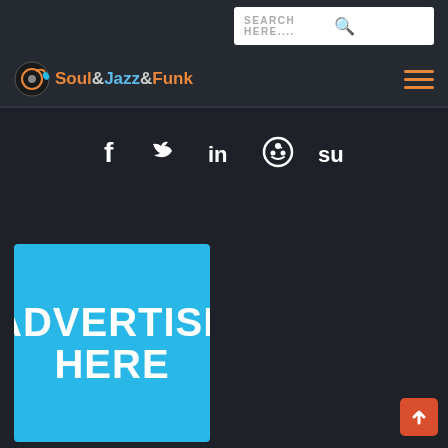[Figure (screenshot): Search box with 'SEARCH HERE....' placeholder text and magnifying glass icon, white background]
[Figure (logo): Soul&Jazz&Funk website logo with musical note icon. 'Soul' and 'Funk' in orange, '&' in gray, 'Jazz' in blue]
[Figure (infographic): Social media icons row: Facebook (f), Twitter (bird), LinkedIn (in), Reddit (alien circle), StumbleUpon (su)]
[Figure (infographic): Blue advertisement banner with white bold text 'ADVERTISE HERE']
[Figure (infographic): Orange/red scroll-to-top button with upward arrow, bottom right corner]